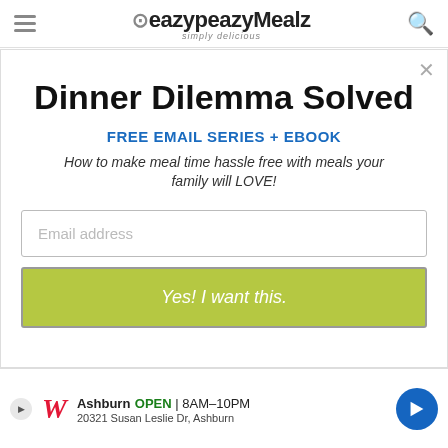eazypeazyMealz – simply delicious
Dinner Dilemma Solved
FREE EMAIL SERIES + EBOOK
How to make meal time hassle free with meals your family will LOVE!
Email address
Yes! I want this.
Another great part about this is you can customize…ould in
[Figure (screenshot): Walgreens advertisement banner: Ashburn OPEN 8AM-10PM, 20321 Susan Leslie Dr, Ashburn, with Walgreens logo and map direction icon]